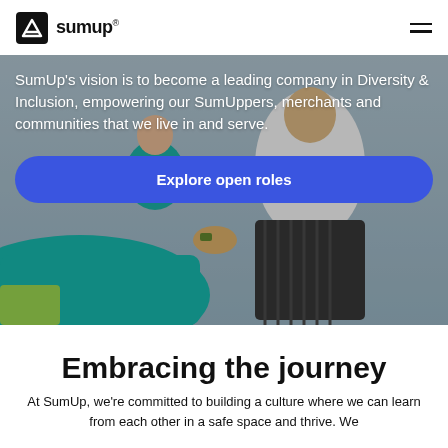SumUp®
[Figure (photo): Two people sitting together in an office setting, with a teal/green seating visible; the image serves as a hero background for SumUp's Diversity & Inclusion page.]
SumUp's vision is to become a leading company in Diversity & Inclusion, empowering our SumUppers, merchants and communities that we live in and serve.
Explore open roles
Embracing the journey
At SumUp, we're committed to building a culture where we can learn from each other in a safe space and thrive. We